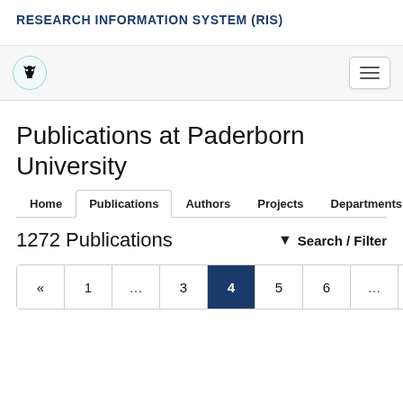RESEARCH INFORMATION SYSTEM (RIS)
[Figure (logo): Paderborn University logo: circular badge with stylized eagle/crest icon in teal border]
Publications at Paderborn University
Navigation tabs: Home | Publications | Authors | Projects | Departments
1272 Publications
Search / Filter
Pagination: « 1 … 3 4 5 6 … 64 »